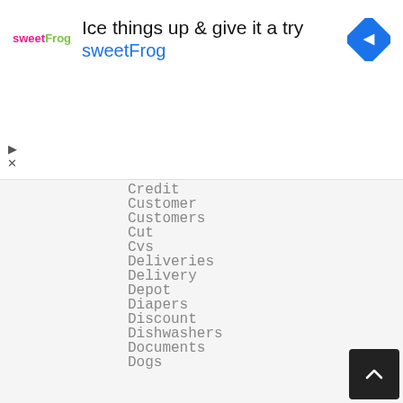[Figure (screenshot): Advertisement banner for sweetFrog frozen yogurt. Shows sweetFrog logo on left, headline 'Ice things up & give it a try' and brand name 'sweetFrog' in blue, with a blue navigation arrow diamond icon on the right.]
Credit
Customer
Customers
Cut
Cvs
Deliveries
Delivery
Depot
Diapers
Discount
Dishwashers
Documents
Dogs